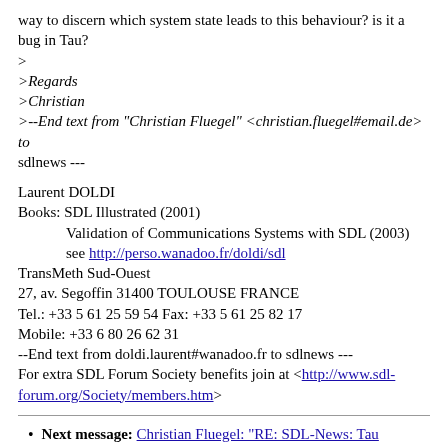way to discern which system state leads to this behaviour? is it a bug in Tau?
>
>Regards
>Christian
>--End text from "Christian Fluegel" <christian.fluegel#email.de> to
sdlnews ---
Laurent DOLDI
Books: SDL Illustrated (2001)
    Validation of Communications Systems with SDL (2003)
    see http://perso.wanadoo.fr/doldi/sdl
TransMeth Sud-Ouest
27, av. Segoffin 31400 TOULOUSE FRANCE
Tel.: +33 5 61 25 59 54 Fax: +33 5 61 25 82 17
Mobile: +33 6 80 26 62 31
--End text from doldi.laurent#wanadoo.fr to sdlnews ---
For extra SDL Forum Society benefits join at <http://www.sdl-forum.org/Society/members.htm>
Next message: Christian Fluegel: "RE: SDL-News: Tau Validator locks up"
Previous message: Christian Fluegel: "SDL-News: Tau